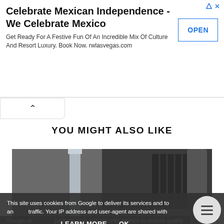[Figure (screenshot): Advertisement banner: 'Celebrate Mexican Independence - We Celebrate Mexico' with OPEN button and small ad icons in top right corner]
Get Ready For A Festive Fun Of An Incredible Mix Of Culture And Resort Luxury. Book Now. rwlasvegas.com
[Figure (other): Collapse/minimize button with upward-pointing caret arrow]
YOU MIGHT ALSO LIKE
[Figure (photo): Close-up photo of powdered sugar-dusted baked goods with metal spatula/knife on a surface]
This site uses cookies from Google to deliver its services and to analyze traffic. Your IP address and user-agent are shared with Google along with performance and security metrics to ensure quality of service, generate usage statistics, and to detect and address abuse.
LEARN MORE    OK